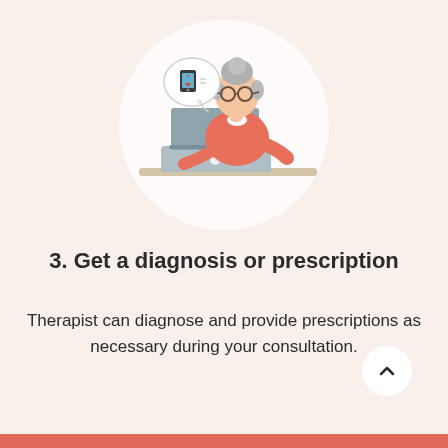[Figure (illustration): Illustration of an elderly woman with gray hair and glasses, wearing a red/coral sweater, sitting at a desk with a laptop. A speech bubble shows a smartphone with a download/prescription icon. The figure sits on a light circular background.]
3. Get a diagnosis or prescription
Therapist can diagnose and provide prescriptions as necessary during your consultation.